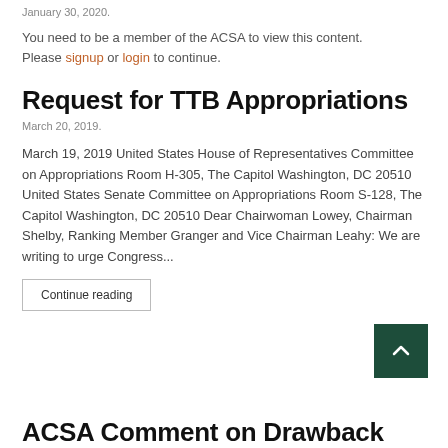January 30, 2020.
You need to be a member of the ACSA to view this content. Please signup or login to continue.
Request for TTB Appropriations
March 20, 2019.
March 19, 2019 United States House of Representatives Committee on Appropriations Room H-305, The Capitol Washington, DC 20510 United States Senate Committee on Appropriations Room S-128, The Capitol Washington, DC 20510 Dear Chairwoman Lowey, Chairman Shelby, Ranking Member Granger and Vice Chairman Leahy: We are writing to urge Congress...
Continue reading
ACSA Comment on Drawback